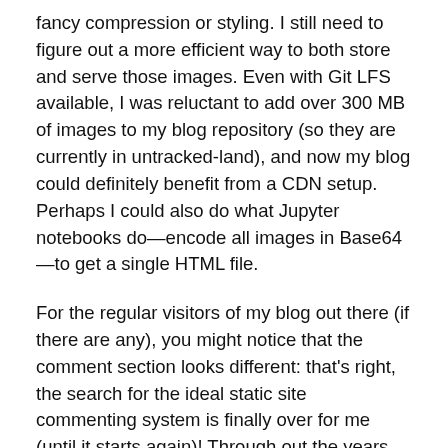fancy compression or styling. I still need to figure out a more efficient way to both store and serve those images. Even with Git LFS available, I was reluctant to add over 300 MB of images to my blog repository (so they are currently in untracked-land), and now my blog could definitely benefit from a CDN setup. Perhaps I could also do what Jupyter notebooks do—encode all images in Base64—to get a single HTML file.
For the regular visitors of my blog out there (if there are any), you might notice that the comment section looks different: that's right, the search for the ideal static site commenting system is finally over for me (until it starts again)! Through out the years, I've used WordPress, Duoshuo (now defunct), Disqus, and Isso as my comment systems. Now, my Hyperskip has superseded them all: taking inspiration from Staticman, I set up Hyperskip to store all the comments in a TOML file, and opted to use email as the submission method, simplifying the setup.